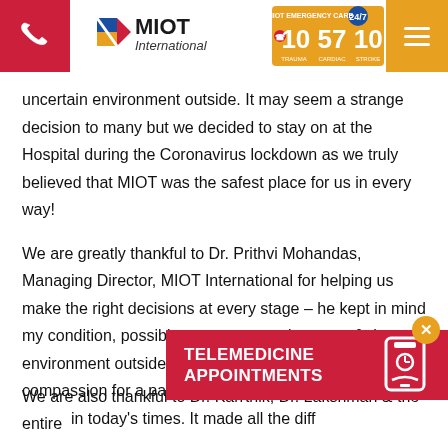[Figure (logo): MIOT International hospital header with phone icon (red), MIOT International logo, MIOT Emergency Care 24/7 10 57 10 badge, and hamburger menu (yellow)]
uncertain environment outside. It may seem a strange decision to many but we decided to stay on at the Hospital during the Coronavirus lockdown as we truly believed that MIOT was the safest place for us in every way!
We are greatly thankful to Dr. Prithvi Mohandas, Managing Director, MIOT International for helping us make the right decisions at every stage – he kept in mind my condition, possible treatment requirements & the environment outside. This extent of empathy & compassion for a patient's physical... in today's times. It made all the diff...
[Figure (infographic): Telemedicine Appointments red banner with white phone/doctor icon and close (X) button in yellow circle]
We are also thankful to Dr. Karrthik, Dr. Lakshman & the entire